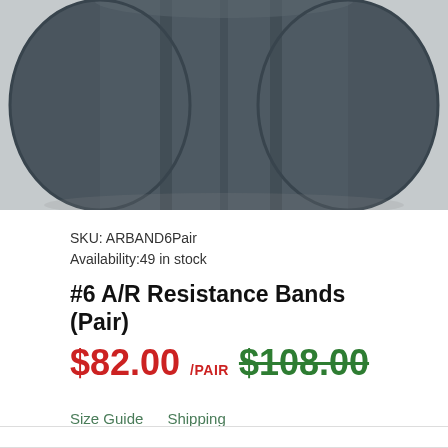[Figure (photo): Close-up photo of a dark grey/blue-green rubber resistance band folded or stacked, viewed from above against a light grey background.]
SKU: ARBAND6Pair
Availability:49 in stock
#6 A/R Resistance Bands (Pair)
$82.00 /PAIR $108.00
Size Guide   Shipping